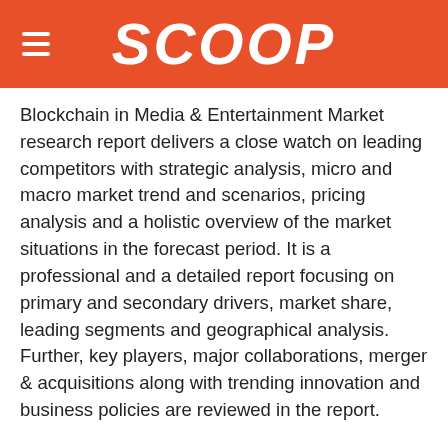SCOOP
Blockchain in Media & Entertainment Market research report delivers a close watch on leading competitors with strategic analysis, micro and macro market trend and scenarios, pricing analysis and a holistic overview of the market situations in the forecast period. It is a professional and a detailed report focusing on primary and secondary drivers, market share, leading segments and geographical analysis. Further, key players, major collaborations, merger & acquisitions along with trending innovation and business policies are reviewed in the report.
Some of the companies that are profiled in this report are:IBM CorporationBitfury USA Inc.Amazon Web ProvidersMicrosoft CorporationInfosys LimitedSAP SEGuardTimeASOracle CorporationAccenture PLCFactom Inc.Key Benefits for Industry Participants & Stakeholders